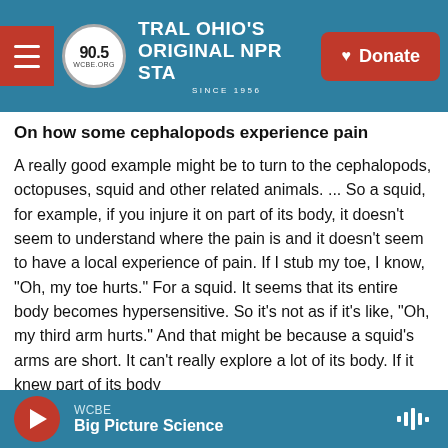90.5 WCBE — CENTRAL OHIO'S ORIGINAL NPR STATION — SINCE 1956 — Donate
On how some cephalopods experience pain
A really good example might be to turn to the cephalopods, octopuses, squid and other related animals. ... So a squid, for example, if you injure it on part of its body, it doesn't seem to understand where the pain is and it doesn't seem to have a local experience of pain. If I stub my toe, I know, "Oh, my toe hurts." For a squid. It seems that its entire body becomes hypersensitive. So it's not as if it's like, "Oh, my third arm hurts." And that might be because a squid's arms are short. It can't really explore a lot of its body. If it knew part of its body
WCBE — Big Picture Science